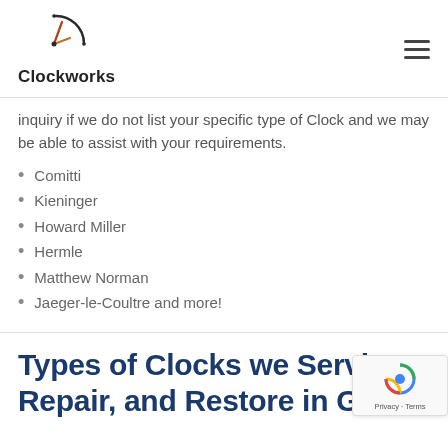Clockworks
inquiry if we do not list your specific type of Clock and we may be able to assist with your requirements.
Comitti
Kieninger
Howard Miller
Hermle
Matthew Norman
Jaeger-le-Coultre and more!
Types of Clocks we Service, Repair, and Restore in Garfor